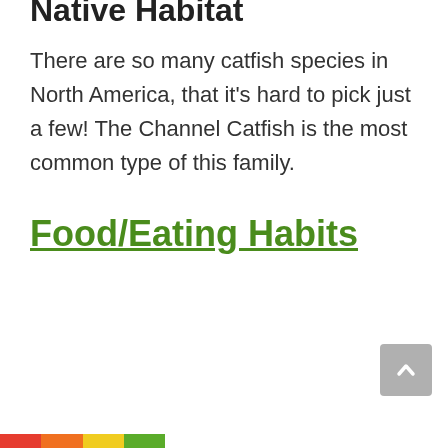Native Habitat
There are so many catfish species in North America, that it’s hard to pick just a few! The Channel Catfish is the most common type of this family.
Food/Eating Habits